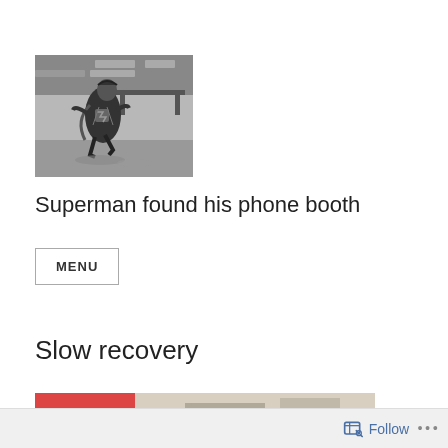[Figure (photo): Black and white photo of Superman (actor in costume) running, tearing open his shirt to reveal the Superman logo, with a brick wall and urban setting in the background]
Superman found his phone booth
MENU
Slow recovery
[Figure (photo): Partial color photo, appears to show a room or indoor setting, cropped at bottom of page]
Follow ...